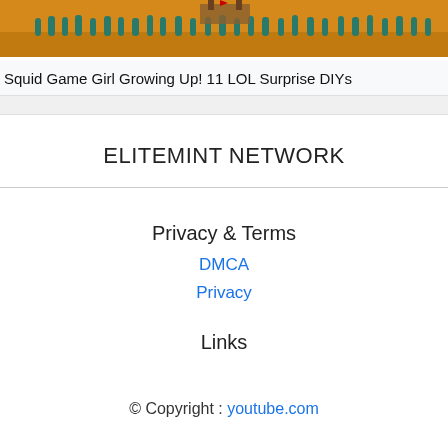[Figure (illustration): Thumbnail image from a video depicting a scene with many cartoon/illustrated figures on an orange-yellow background, with some figures in teal/green and a structure in the background.]
Squid Game Girl Growing Up! 11 LOL Surprise DIYs
ELITEMINT NETWORK
Privacy & Terms
DMCA
Privacy
Links
© Copyright : youtube.com